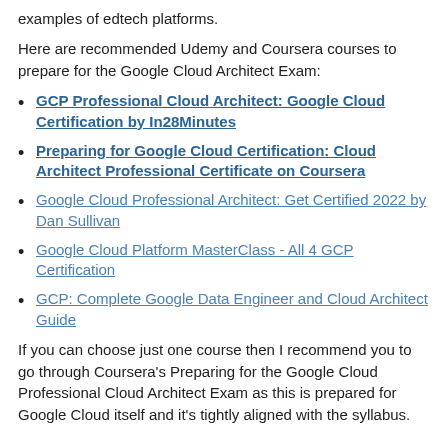examples of edtech platforms.
Here are recommended Udemy and Coursera courses to prepare for the Google Cloud Architect Exam:
GCP Professional Cloud Architect: Google Cloud Certification by In28Minutes
Preparing for Google Cloud Certification: Cloud Architect Professional Certificate on Coursera
Google Cloud Professional Architect: Get Certified 2022 by Dan Sullivan
Google Cloud Platform MasterClass - All 4 GCP Certification
GCP: Complete Google Data Engineer and Cloud Architect Guide
If you can choose just one course then I recommend you to go through Coursera's Preparing for the Google Cloud Professional Cloud Architect Exam as this is prepared for Google Cloud itself and it's tightly aligned with the syllabus.